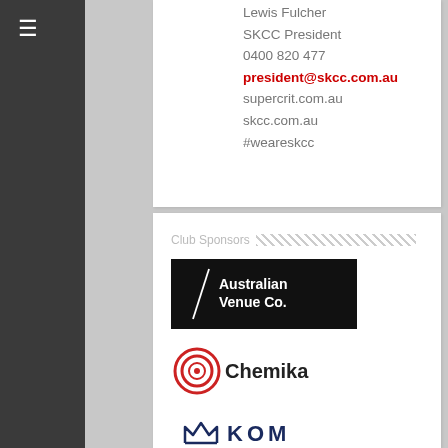Lewis Fulcher
SKCC President
0400 820 477
president@skcc.com.au
supercrit.com.au
skcc.com.au
#weareskcc
Club Sponsors
[Figure (logo): Australian Venue Co. logo — white slash diagonal line with text on black background]
[Figure (logo): Chemika logo — concentric red circles target icon with Chemika text]
[Figure (logo): KOM Financial Advice logo — crown icon above KOM text and FINANCIAL ADVICE text in dark navy]